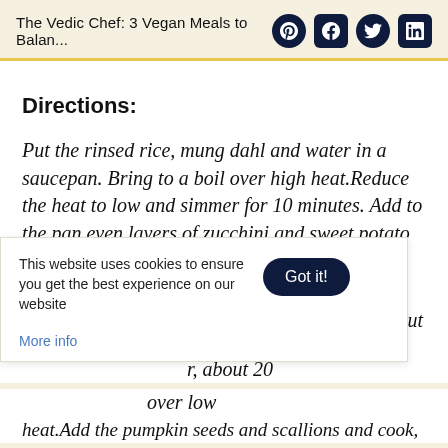The Vedic Chef: 3 Vegan Meals to Balan...
Directions:
Put the rinsed rice, mung dahl and water in a saucepan. Bring to a boil over high heat.Reduce the heat to low and simmer for 10 minutes. Add to the pan even layers of zucchini and sweet potato on top of the rice mixture. Cover the pan again and cook until the [vegetables are tender], about 20 [minutes. Remove lid and fluff/stir] over low heat.Add the pumpkin seeds and scallions and cook,
This website uses cookies to ensure you get the best experience on our website
More info